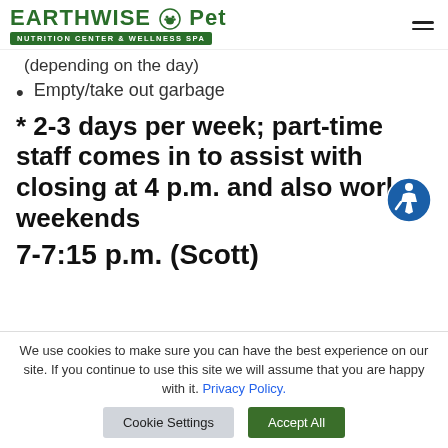EARTHWISE Pet NUTRITION CENTER & WELLNESS SPA
(depending on the day)
Empty/take out garbage
* 2-3 days per week; part-time staff comes in to assist with closing at 4 p.m. and also works weekends
7-7:15 p.m. (Scott)
We use cookies to make sure you can have the best experience on our site. If you continue to use this site we will assume that you are happy with it. Privacy Policy.